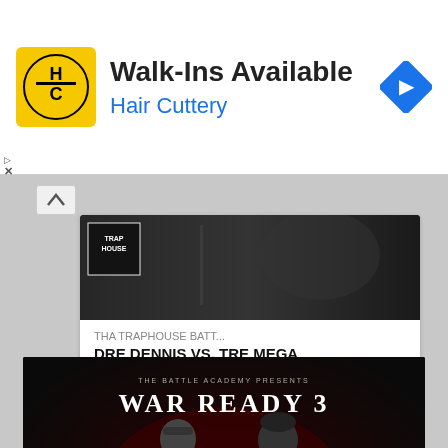[Figure (screenshot): Hair Cuttery advertisement banner with yellow HC logo, 'Walk-Ins Available' headline, 'Hair Cuttery' subtitle in blue, and navigation arrow icon]
[Figure (screenshot): Video thumbnail for Tha Traphouse Battle League: DRE DENNIS VS. TRE MEGA, dated 1.22.21 with 1,299 views]
[Figure (screenshot): War Ready 3 event promotional image showing CYSCERO VS DRE DENNIS battle rap event]